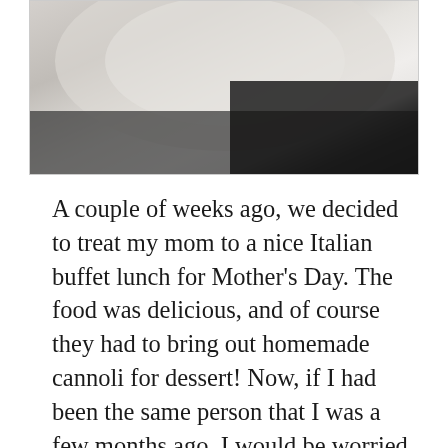[Figure (photo): A close-up photo of what appears to be a white plate or dish, with blurred light tones and a dark background in the lower right corner.]
A couple of weeks ago, we decided to treat my mom to a nice Italian buffet lunch for Mother's Day. The food was delicious, and of course they had to bring out homemade cannoli for dessert! Now, if I had been the same person that I was a few months ago, I would be worried about even considering eating a cannoli. Instead of feeling guilty about the amount of calories that I would be eating, I decided to eat one anyway. I am Italian, so any Italian dessert is my favorite, and I knew that I